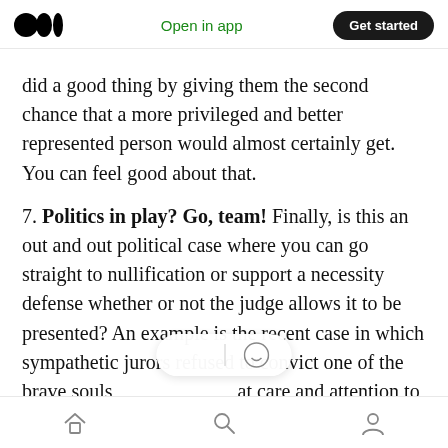Open in app | Get started
did a good thing by giving them the second chance that a more privileged and better represented person would almost certainly get. You can feel good about that.
7. Politics in play? Go, team! Finally, is this an out and out political case where you can go straight to nullification or support a necessity defense whether or not the judge allows it to be presented? An example is the recent case in which sympathetic jurors refused to convict one of the brave souls [icons] at care and attention to safety, briefly cut off the flow of tar
Home | Search | Profile